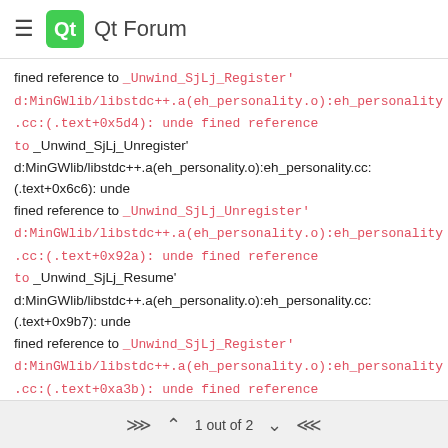Qt Forum
fined reference to _Unwind_SjLj_Register' d:MinGWlib/libstdc++.a(eh_personality.o):eh_personality.cc:(.text+0x5d4): unde fined reference to _Unwind_SjLj_Unregister' d:MinGWlib/libstdc++.a(eh_personality.o):eh_personality.cc:(.text+0x6c6): unde fined reference to _Unwind_SjLj_Unregister' d:MinGWlib/libstdc++.a(eh_personality.o):eh_personality.cc:(.text+0x92a): unde fined reference to _Unwind_SjLj_Resume' d:MinGWlib/libstdc++.a(eh_personality.o):eh_personality.cc:(.text+0x9b7): unde fined reference to _Unwind_SjLj_Register' d:MinGWlib/libstdc++.a(eh_personality.o):eh_personality.cc:(.text+0xa3b): unde fined reference to _Unwind_SjLj_Resume' d:MinGWlib/libstdc++.a(eh_throw.o):eh_throw.cc:(.text+0x7b):
1 out of 2